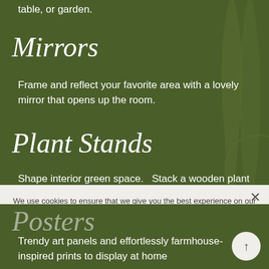table, or garden.
Mirrors
Frame and reflect your favorite area with a lovely mirror that opens up the room.
Plant Stands
Shape interior green space.   Stack a wooden plant stand with a custom pot and a beautiful plant.  The tree-like, vertical form brings the outdoors inside your home
We use cookies to ensure that we give you the best experience on our website. If you continue to use this site we will assume that you are happy with it.
Posters
Trendy art panels and effortlessly farmhouse-inspired prints to display at home